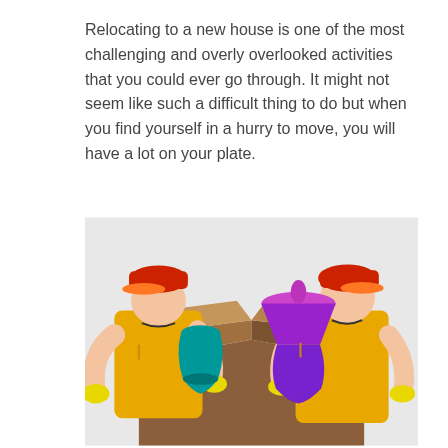Relocating to a new house is one of the most challenging and overly overlooked activities that you could ever go through. It might not seem like such a difficult thing to do but when you find yourself in a hurry to move, you will have a lot on your plate.
[Figure (illustration): Two movers in yellow uniforms and red caps with yellow gloves placing items (a teal vase and a purple lamp) into a large open cardboard box.]